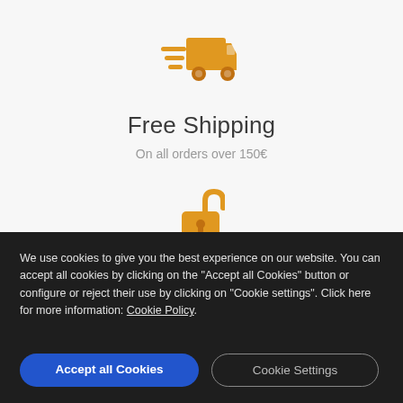[Figure (illustration): Orange delivery truck icon with speed lines, indicating fast shipping]
Free Shipping
On all orders over 150€
[Figure (illustration): Orange unlocked padlock icon]
We use cookies to give you the best experience on our website. You can accept all cookies by clicking on the "Accept all Cookies" button or configure or reject their use by clicking on "Cookie settings". Click here for more information: Cookie Policy.
Accept all Cookies
Cookie Settings